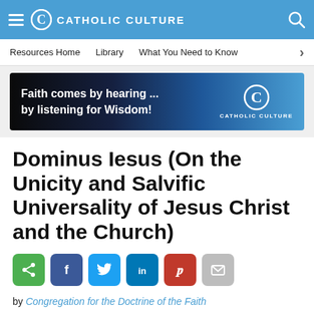CATHOLIC CULTURE
Resources Home   Library   What You Need to Know
[Figure (other): Catholic Culture promotional banner: 'Faith comes by hearing ... by listening for Wisdom!' with Catholic Culture logo on dark-to-blue gradient background]
Dominus Iesus (On the Unicity and Salvific Universality of Jesus Christ and the Church)
[Figure (infographic): Social sharing buttons row: share (green), Facebook (dark blue), Twitter (light blue), LinkedIn (blue), Pinterest (red), email (grey)]
by Congregation for the Doctrine of the Faith
DESCRIPTIVE TITLE